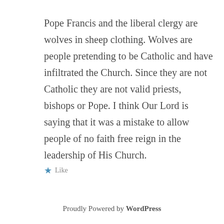Pope Francis and the liberal clergy are wolves in sheep clothing. Wolves are people pretending to be Catholic and have infiltrated the Church. Since they are not Catholic they are not valid priests, bishops or Pope. I think Our Lord is saying that it was a mistake to allow people of no faith free reign in the leadership of His Church.
★ Like
Proudly Powered by WordPress